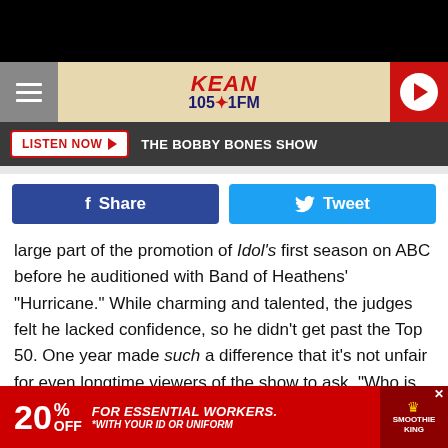[Figure (screenshot): KEAN 105.1 FM radio station website header with hamburger menu, logo, and play button]
LISTEN NOW ▶  THE BOBBY BONES SHOW
[Figure (infographic): Facebook Share button and Twitter Tweet button]
large part of the promotion of Idol's first season on ABC before he auditioned with Band of Heathens' "Hurricane." While charming and talented, the judges felt he lacked confidence, so he didn't get past the Top 50. One year made such a difference that it's not unfair for even longtime viewers of the show to ask, "Who is Laine Hardy?"
[Figure (infographic): Advertisement banner: 20% OFF FOR ESSENTIAL WORKERS. *WITH YOUR ID OR UNIFORM — Smoothie King]